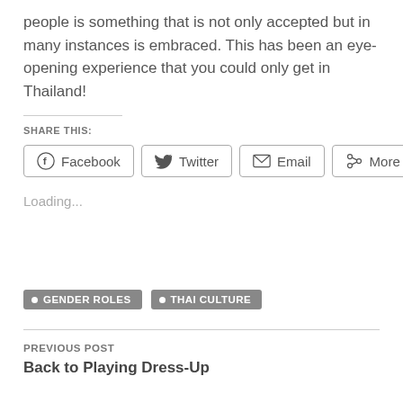people is something that is not only accepted but in many instances is embraced. This has been an eye-opening experience that you could only get in Thailand!
SHARE THIS:
Facebook  Twitter  Email  More
Loading...
GENDER ROLES
THAI CULTURE
PREVIOUS POST
Back to Playing Dress-Up